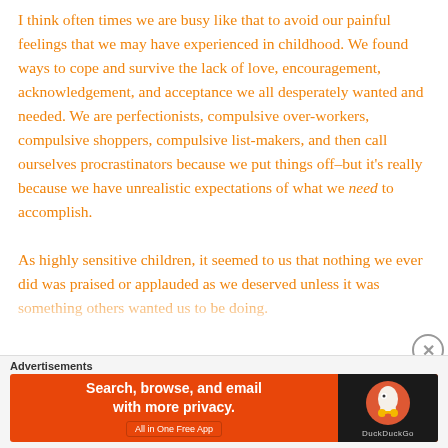I think often times we are busy like that to avoid our painful feelings that we may have experienced in childhood. We found ways to cope and survive the lack of love, encouragement, acknowledgement, and acceptance we all desperately wanted and needed. We are perfectionists, compulsive over-workers, compulsive shoppers, compulsive list-makers, and then call ourselves procrastinators because we put things off–but it's really because we have unrealistic expectations of what we need to accomplish.

As highly sensitive children, it seemed to us that nothing we ever did was praised or applauded as we deserved unless it was something others wanted us to be doing.
Advertisements
[Figure (other): DuckDuckGo advertisement banner: orange background on left with text 'Search, browse, and email with more privacy. All in One Free App', dark background on right with DuckDuckGo logo and duck icon.]